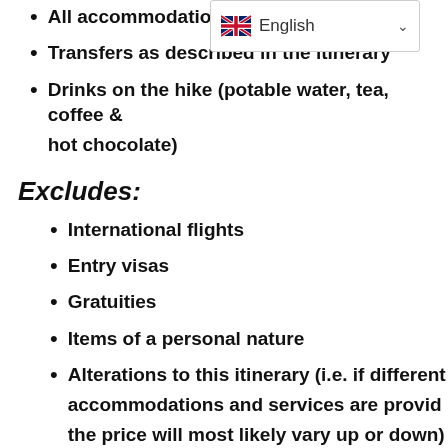All accommodation as described in the itinerary
Transfers as described in the itinerary
Drinks on the hike (potable water, tea, coffee & hot chocolate)
Excludes:
International flights
Entry visas
Gratuities
Items of a personal nature
Alterations to this itinerary (i.e. if different accommodations and services are provided, the price will most likely vary up or down)